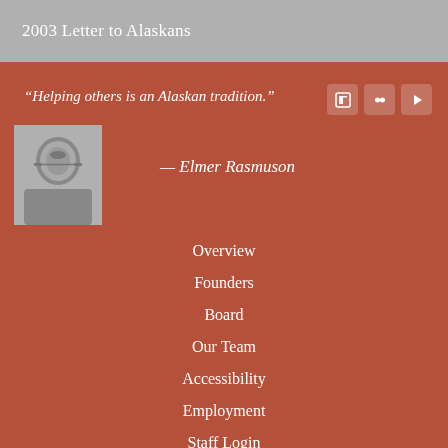2003 Letter to Alaskans
“Helping others is an Alaskan tradition.”
[Figure (photo): Black and white portrait photo of Elmer Rasmuson, a man wearing glasses and a suit]
— Elmer Rasmuson
Overview
Founders
Board
Our Team
Accessibility
Employment
Staff Login
301 West Northern Lights Blvd. Suite 601
Anchorage, AK 99503